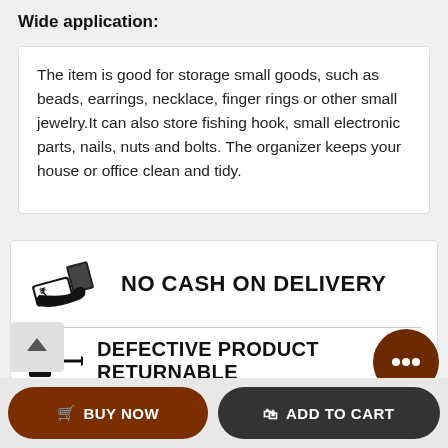Wide application:
The item is good for storage small goods, such as beads, earrings, necklace, finger rings or other small jewelry.It can also store fishing hook, small electronic parts, nails, nuts and bolts. The organizer keeps your house or office clean and tidy.
[Figure (illustration): No cash on delivery icon showing hand with money/card]
NO CASH ON DELIVERY
[Figure (illustration): Defective product returnable icon with upload arrow]
DEFECTIVE PRODUCT RETURNABLE
[Figure (illustration): Chat bubble icon (dark brown circle with three dots)]
BUY NOW
ADD TO CART